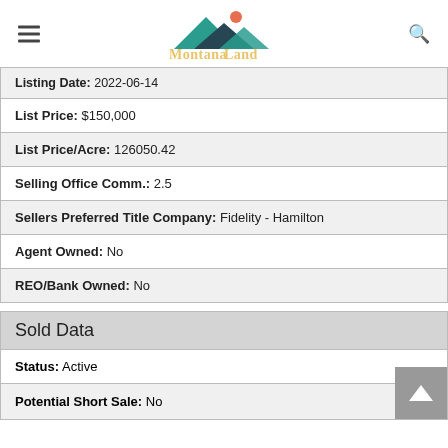Montana Land Company
| Listing Date: 2022-06-14 |
| List Price: $150,000 |
| List Price/Acre: 126050.42 |
| Selling Office Comm.: 2.5 |
| Sellers Preferred Title Company: Fidelity - Hamilton |
| Agent Owned: No |
| REO/Bank Owned: No |
Sold Data
| Status: Active |
| Potential Short Sale: No |